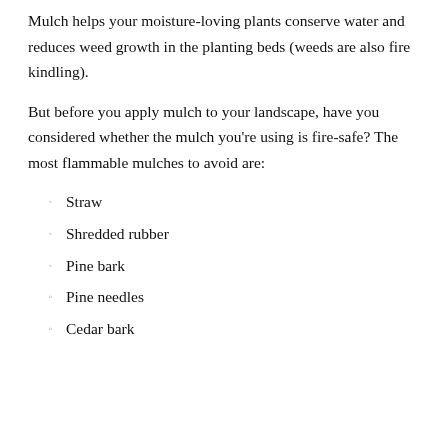Mulch helps your moisture-loving plants conserve water and reduces weed growth in the planting beds (weeds are also fire kindling).
But before you apply mulch to your landscape, have you considered whether the mulch you’re using is fire-safe? The most flammable mulches to avoid are:
Straw
Shredded rubber
Pine bark
Pine needles
Cedar bark